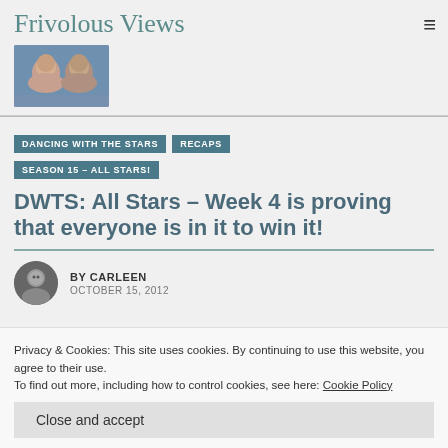Frivolous Views
[Figure (photo): Two women smiling, header photo for Frivolous Views blog]
DANCING WITH THE STARS
RECAPS
SEASON 15 – ALL STARS!
DWTS: All Stars – Week 4 is proving that everyone is in it to win it!
BY CARLEEN
OCTOBER 15, 2012
Privacy & Cookies: This site uses cookies. By continuing to use this website, you agree to their use.
To find out more, including how to control cookies, see here: Cookie Policy